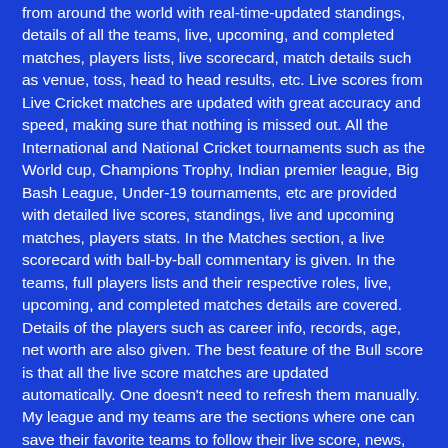from around the world with real-time-updated standings, details of all the teams, live, upcoming, and completed matches, players lists, live scorecard, match details such as venue, toss, head to head results, etc. Live scores from Live Cricket matches are updated with great accuracy and speed, making sure that nothing is missed out. All the International and National Cricket tournaments such as the World cup, Champions Trophy, Indian premier league, Big Bash League, Under-19 tournaments, etc are provided with detailed live scores, standings, live and upcoming matches, players stats. In the Matches section, a live scorecard with ball-by-ball commentary is given. In the teams, full players lists and their respective roles, live, upcoming, and completed matches details are covered. Details of the players such as career info, records, age, net worth are also given. The best feature of the Bull score is that all the live score matches are updated automatically. One doesn't need to refresh them manually. My league and my teams are the sections where one can save their favorite teams to follow their live score, news, other stats later.
Top Live Matches Score and Streaming